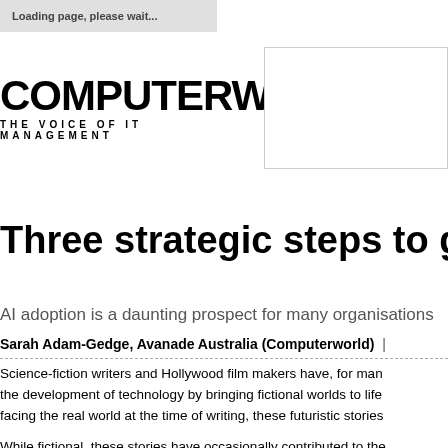Loading page, please wait...
[Figure (logo): Computerworld logo with tagline THE VOICE OF IT MANAGEMENT]
Three strategic steps to get s
AI adoption is a daunting prospect for many organisations
Sarah Adam-Gedge, Avanade Australia (Computerworld) |
Science-fiction writers and Hollywood film makers have, for many years, shaped the development of technology by bringing fictional worlds to life. Often reflecting issues facing the real world at the time of writing, these futuristic stories...
While fictional, these stories have occasionally contributed to the real world. Motorola's Martin Cooper, credited for inventing the first mobile... Perlman, a scientist at Apple, says he stumbled upon the idea f... after watching an episode of "Star Trek: The Next Generation"...